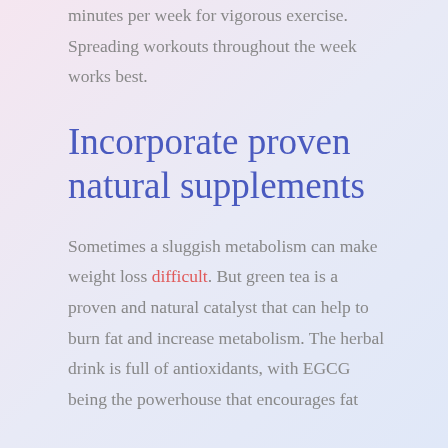minutes per week for vigorous exercise. Spreading workouts throughout the week works best.
Incorporate proven natural supplements
Sometimes a sluggish metabolism can make weight loss difficult. But green tea is a proven and natural catalyst that can help to burn fat and increase metabolism. The herbal drink is full of antioxidants, with EGCG being the powerhouse that encourages fat